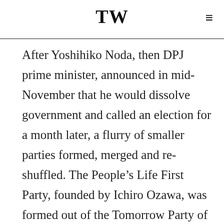TW
After Yoshihiko Noda, then DPJ prime minister, announced in mid-November that he would dissolve government and called an election for a month later, a flurry of smaller parties formed, merged and re-shuffled. The People’s Life First Party, founded by Ichiro Ozawa, was formed out of the Tomorrow Party of Japan, Nuclear-Free Party and Green Wind (Japan is, by the way, a world leader in terrible party names).
It was a partnership of right-wing heavyweights – Toru Hashimoto and Shintaro Ishihara – that